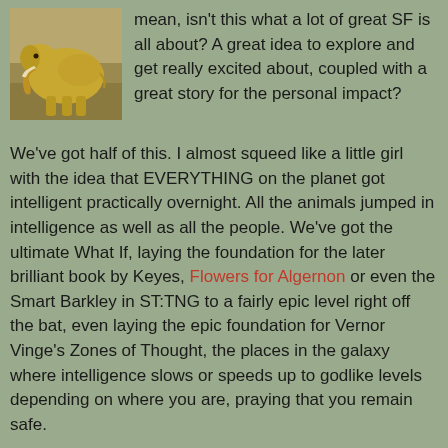[Figure (photo): Photo of an elephant in a savanna landscape, yellowish-brown tones]
mean, isn't this what a lot of great SF is all about? A great idea to explore and get really excited about, coupled with a great story for the personal impact?
We've got half of this. I almost squeed like a little girl with the idea that EVERYTHING on the planet got intelligent practically overnight. All the animals jumped in intelligence as well as all the people. We've got the ultimate What If, laying the foundation for the later brilliant book by Keyes, Flowers for Algernon or even the Smart Barkley in ST:TNG to a fairly epic level right off the bat, even laying the epic foundation for Vernor Vinge's Zones of Thought, the places in the galaxy where intelligence slows or speeds up to godlike levels depending on where you are, praying that you remain safe.
So what's my problem? Nothing too extreme, but each piles up and annoys until I just had to drop a few stars. Probably the worst is just a feature of 1950 when this came out, namely the assumption and portrayal of women being idiots or lazy or hopelessly enamoured and stymied because of